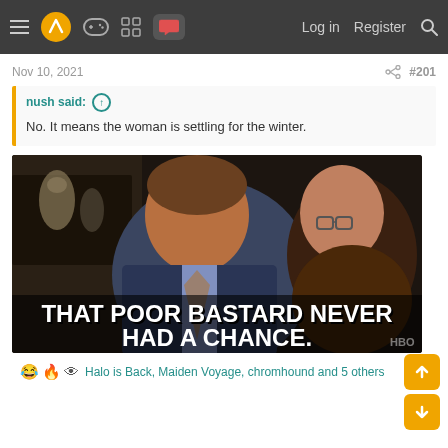≡ [logo] [gamepad] [grid] [chat] Log in  Register [search]
Nov 10, 2021
#201
nush said: ↑
No. It means the woman is settling for the winter.
[Figure (photo): Meme image from HBO show (Curb Your Enthusiasm) showing two men in conversation with caption 'THAT POOR BASTARD NEVER HAD A CHANCE.' with HBO watermark]
😂 🔥 👁 Halo is Back, Maiden Voyage, chromhound and 5 others